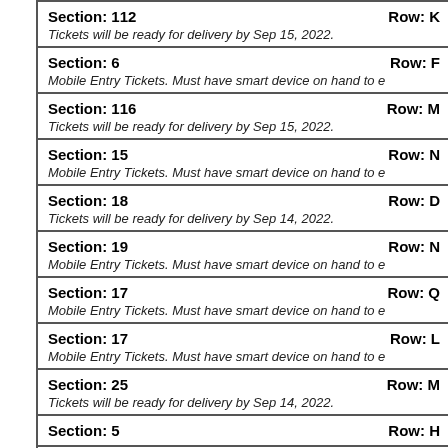Section: 112 | Row: K
Tickets will be ready for delivery by Sep 15, 2022.
Section: 6 | Row: F
Mobile Entry Tickets. Must have smart device on hand to e
Section: 116 | Row: M
Tickets will be ready for delivery by Sep 15, 2022.
Section: 15 | Row: N
Mobile Entry Tickets. Must have smart device on hand to e
Section: 18 | Row: D
Tickets will be ready for delivery by Sep 14, 2022.
Section: 19 | Row: N
Mobile Entry Tickets. Must have smart device on hand to e
Section: 17 | Row: Q
Mobile Entry Tickets. Must have smart device on hand to e
Section: 17 | Row: L
Mobile Entry Tickets. Must have smart device on hand to e
Section: 25 | Row: M
Tickets will be ready for delivery by Sep 14, 2022.
Section: 5 | Row: H